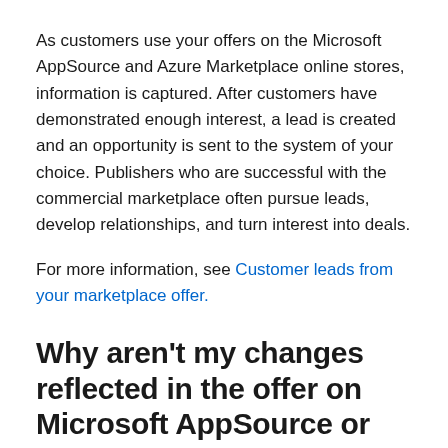As customers use your offers on the Microsoft AppSource and Azure Marketplace online stores, information is captured. After customers have demonstrated enough interest, a lead is created and an opportunity is sent to the system of your choice. Publishers who are successful with the commercial marketplace often pursue leads, develop relationships, and turn interest into deals.
For more information, see Customer leads from your marketplace offer.
Why aren't my changes reflected in the offer on Microsoft AppSource or Azure Marketplace?
Changes made within Partner Center are updated in the